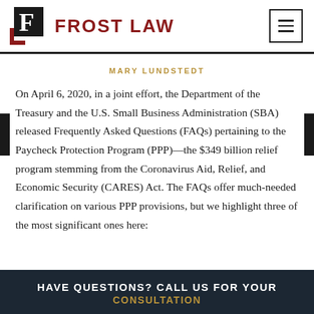FROST LAW
MARY LUNDSTEDT
On April 6, 2020, in a joint effort, the Department of the Treasury and the U.S. Small Business Administration (SBA) released Frequently Asked Questions (FAQs) pertaining to the Paycheck Protection Program (PPP)—the $349 billion relief program stemming from the Coronavirus Aid, Relief, and Economic Security (CARES) Act. The FAQs offer much-needed clarification on various PPP provisions, but we highlight three of the most significant ones here:
HAVE QUESTIONS? CALL US FOR YOUR CONSULTATION